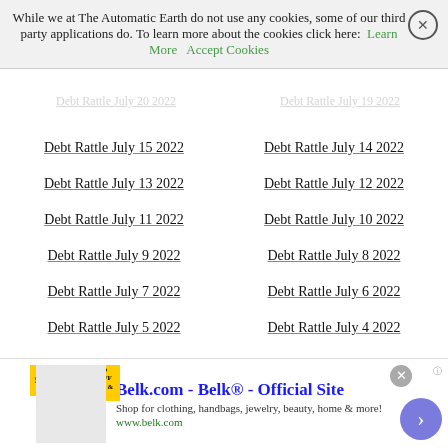While we at The Automatic Earth do not use any cookies, some of our third party applications do. To learn more about the cookies click here: Learn More  Accept Cookies
Debt Rattle July 15 2022
Debt Rattle July 14 2022
Debt Rattle July 13 2022
Debt Rattle July 12 2022
Debt Rattle July 11 2022
Debt Rattle July 10 2022
Debt Rattle July 9 2022
Debt Rattle July 8 2022
Debt Rattle July 7 2022
Debt Rattle July 6 2022
Debt Rattle July 5 2022
Debt Rattle July 4 2022
Debt Rattle July 3 2022
Debt Rattle July 2 2022
Debt Rattle July 1 2022
Debt Rattle June 30 2022
Debt Rattle June 29 2022
Debt Rattle June 28 2022
Debt Rattle June 27 2022
The Entire World Order Has Changed
[Figure (other): Belk.com advertisement banner at bottom of page]